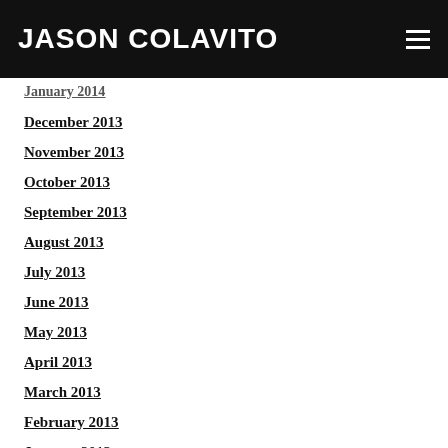JASON COLAVITO
January 2014
December 2013
November 2013
October 2013
September 2013
August 2013
July 2013
June 2013
May 2013
April 2013
March 2013
February 2013
January 2013
December 2012
November 2012
October 2012
September 2012